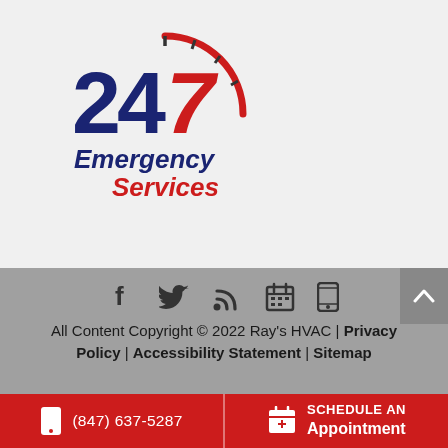[Figure (logo): 24/7 Emergency Services logo with clock graphic, bold dark blue '24' and red '7', italic red text 'Emergency Services' below]
[Figure (infographic): Social media icons row: Facebook, Twitter, RSS feed, Calendar, Mobile phone icons in dark gray]
All Content Copyright © 2022 Ray's HVAC | Privacy Policy | Accessibility Statement | Sitemap
(847) 637-5287
SCHEDULE AN Appointment